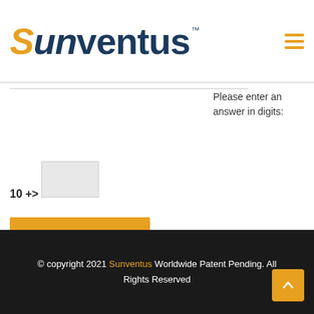[Figure (logo): Sunventus logo with orange S and dark blue text, TM mark]
Please enter an answer in digits:
10 + one =
POST COMMENT »
© copyright 2021 Sunventus Worldwide Patent Pending. All Rights Reserved